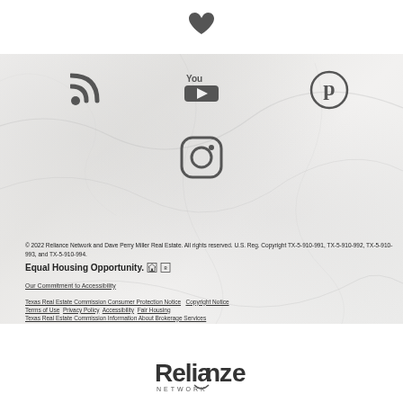[Figure (illustration): Heart icon centered at top in dark gray]
[Figure (illustration): RSS feed icon on left, YouTube icon center, Pinterest icon on right — social media icons on marble background]
[Figure (illustration): Instagram icon centered on marble background]
© 2022 Reliance Network and Dave Perry Miller Real Estate. All rights reserved. U.S. Reg. Copyright TX-5-910-991, TX-5-910-992, TX-5-910-993, and TX-5-910-994.
Equal Housing Opportunity.
Our Commitment to Accessibility
Texas Real Estate Commission Consumer Protection Notice   Copyright Notice   Terms of Use   Privacy Policy   Accessibility   Fair Housing
Texas Real Estate Commission Information About Brokerage Services
[Figure (logo): Reliance Network logo at bottom center]